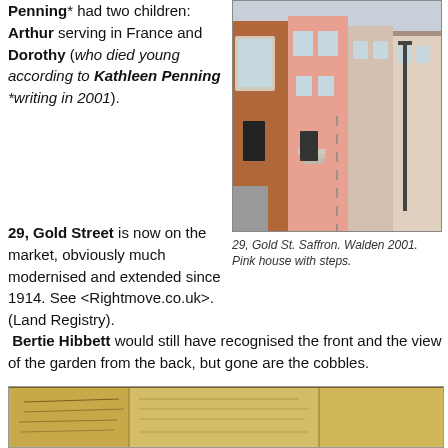Penning* had two children: Arthur serving in France and Dorothy (who died young according to Kathleen Penning *writing in 2001).
[Figure (photo): Street view photograph of a row of terraced houses including a pink house with steps, at 29 Gold Street, Saffron Walden, taken in 2001.]
29, Gold St. Saffron. Walden 2001. Pink house with steps.
29, Gold Street is now on the market, obviously much modernised and extended since 1914. See <Rightmove.co.uk>.(Land Registry). Bertie Hibbett would still have recognised the front and the view of the garden from the back, but gone are the cobbles.
[Figure (photo): Partial view of a historical document or map, sepia/yellow toned, showing handwritten or printed content, cropped at bottom of page.]